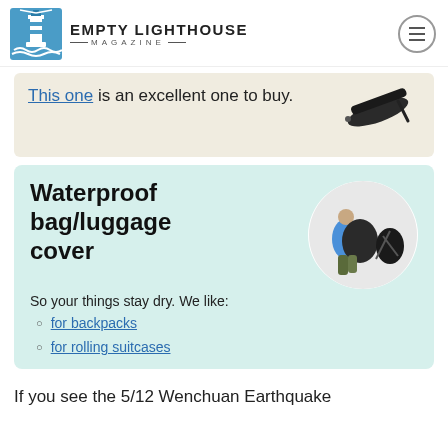EMPTY LIGHTHOUSE MAGAZINE
This one is an excellent one to buy.
Waterproof bag/luggage cover
So your things stay dry. We like:
for backpacks
for rolling suitcases
If you see the 5/12 Wenchuan Earthquake